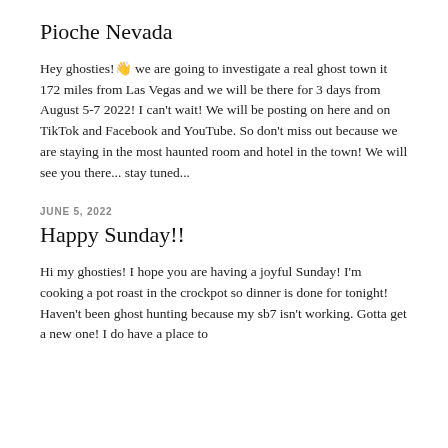Pioche Nevada
Hey ghosties!👋 we are going to investigate a real ghost town it 172 miles from Las Vegas and we will be there for 3 days from August 5-7 2022! I can't wait! We will be posting on here and on TikTok and Facebook and YouTube. So don't miss out because we are staying in the most haunted room and hotel in the town! We will see you there... stay tuned...
JUNE 5, 2022
Happy Sunday!!
Hi my ghosties! I hope you are having a joyful Sunday! I'm cooking a pot roast in the crockpot so dinner is done for tonight! Haven't been ghost hunting because my sb7 isn't working. Gotta get a new one! I do have a place to